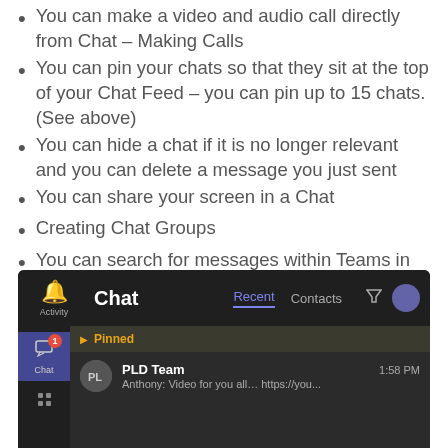You can make a video and audio call directly from Chat – Making Calls
You can pin your chats so that they sit at the top of your Chat Feed – you can pin up to 15 chats. (See above)
You can hide a chat if it is no longer relevant and you can delete a message you just sent
You can share your screen in a Chat
Creating Chat Groups
You can search for messages within Teams in the command box at the top of Teams.
[Figure (screenshot): Microsoft Teams Chat interface showing the Chat panel with Recent and Contacts tabs, a Pinned section header, and a chat entry for PLD Team with a message preview from Anthony about a video.]